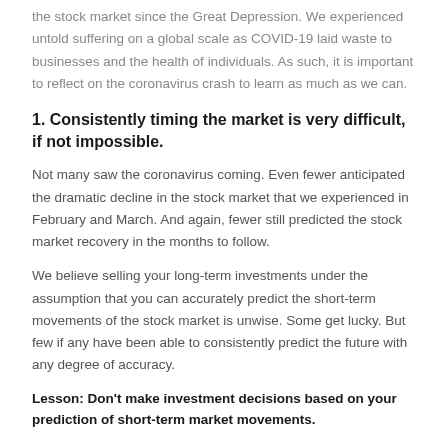the stock market since the Great Depression. We experienced untold suffering on a global scale as COVID-19 laid waste to businesses and the health of individuals. As such, it is important to reflect on the coronavirus crash to learn as much as we can.
1. Consistently timing the market is very difficult, if not impossible.
Not many saw the coronavirus coming. Even fewer anticipated the dramatic decline in the stock market that we experienced in February and March. And again, fewer still predicted the stock market recovery in the months to follow.
We believe selling your long-term investments under the assumption that you can accurately predict the short-term movements of the stock market is unwise. Some get lucky. But few if any have been able to consistently predict the future with any degree of accuracy.
Lesson: Don't make investment decisions based on your prediction of short-term market movements.